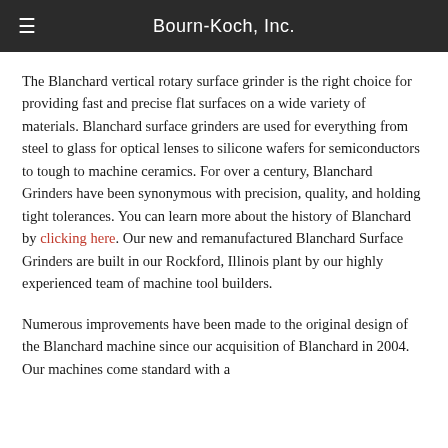Bourn-Koch, Inc.
The Blanchard vertical rotary surface grinder is the right choice for providing fast and precise flat surfaces on a wide variety of materials. Blanchard surface grinders are used for everything from steel to glass for optical lenses to silicone wafers for semiconductors to tough to machine ceramics. For over a century, Blanchard Grinders have been synonymous with precision, quality, and holding tight tolerances. You can learn more about the history of Blanchard by clicking here. Our new and remanufactured Blanchard Surface Grinders are built in our Rockford, Illinois plant by our highly experienced team of machine tool builders.
Numerous improvements have been made to the original design of the Blanchard machine since our acquisition of Blanchard in 2004. Our machines come standard with a